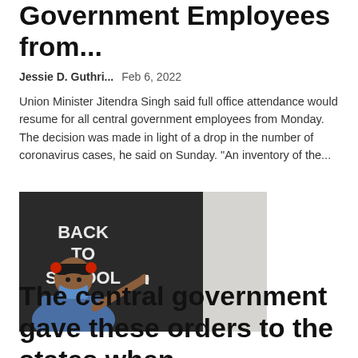Government Employees from...
Jessie D. Guthri...  Feb 6, 2022
Union Minister Jitendra Singh said full office attendance would resume for all central government employees from Monday. The decision was made in light of a drop in the number of coronavirus cases, he said on Sunday. "An inventory of the...
[Figure (photo): A young girl wearing a face mask writing 'BACK TO SCHOOL' on a chalkboard]
The central government gave these orders to the states when schools were opened